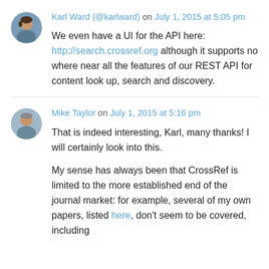Karl Ward (@karlward) on July 1, 2015 at 5:05 pm
We even have a UI for the API here: http://search.crossref.org although it supports no where near all the features of our REST API for content look up, search and discovery.
Mike Taylor on July 1, 2015 at 5:16 pm
That is indeed interesting, Karl, many thanks! I will certainly look into this.
My sense has always been that CrossRef is limited to the more established end of the journal market: for example, several of my own papers, listed here, don't seem to be covered, including